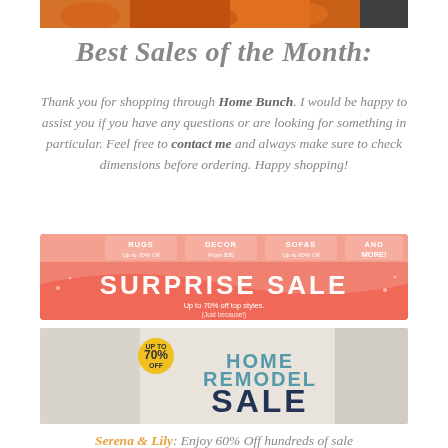[Figure (photo): Top portion of a pumpkins/autumn themed photo, partially visible]
Best Sales of the Month:
Thank you for shopping through Home Bunch. I would be happy to assist you if you have any questions or are looking for something in particular. Feel free to contact me and always make sure to check dimensions before ordering. Happy shopping!
[Figure (infographic): Surprise Sale banner — coral/salmon colored with categories: RUGS Up to 70% Off, DECOR From $30, SOFAS Up to 60% Off, AND MORE! Large text: SURPRISE SALE. Up to 70% off top styles. (Just because!)]
[Figure (infographic): Home Remodel Sale banner — light background with home accessories, yellow circle badge '70% OFF', teal text HOME REMODEL, dark navy large text SALE]
Serena & Lily: Enjoy 60% Off hundreds of sale